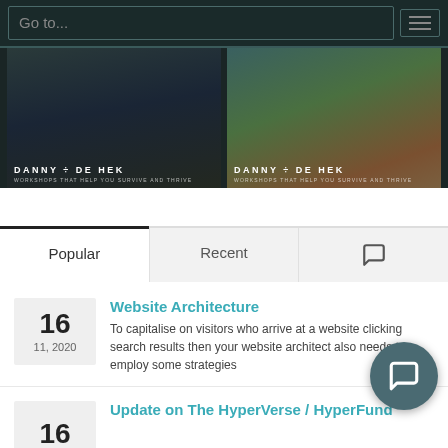Go to...
[Figure (photo): Two Danny De Hek promotional images side by side showing workshop thumbnails with text 'DANNY DE HEK - WORKSHOPS THAT HELP YOU SURVIVE AND THRIVE']
Popular | Recent | (comments icon)
16
11, 2020
Website Architecture
To capitalise on visitors who arrive at a website clicking search results then your website architect also needs to employ some strategies
16
Update on The HyperVerse / HyperFund